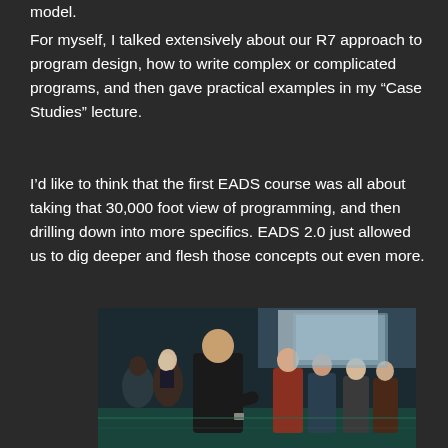model.
For myself, I talked extensively about our R7 approach to program design, how to write complex or complicated programs, and then gave practical examples in my “Case Studies” lecture.
I’d like to think that the first EADS course was all about taking that 30,000 foot view of programming, and then drilling down into more specifics. EADS 2.0 just allowed us to dig deeper and flesh those concepts out even more.
[Figure (photo): Instructor speaking to a group of attendees in a gym/training facility setting. A man in a black polo shirt is gesturing and talking to a crowd of people standing in the background.]